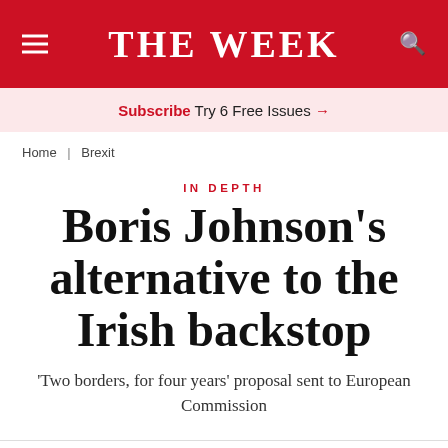THE WEEK
Subscribe Try 6 Free Issues →
Home | Brexit
IN DEPTH
Boris Johnson's alternative to the Irish backstop
'Two borders, for four years' proposal sent to European Commission